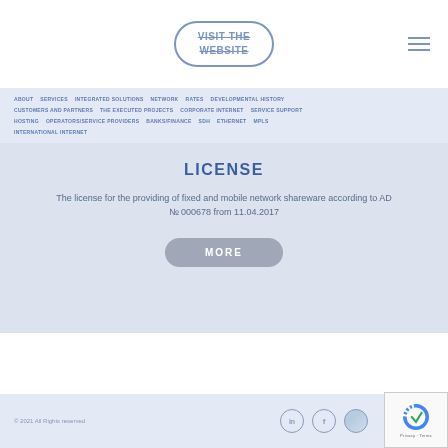[Figure (screenshot): Website navigation screenshot with VISIT THE WEBSITE button (strikethrough) and hamburger menu icon]
ABOUT  SERVICES  INTEGRATED SOLUTIONS  NETWORK  RATES  DEVELOPMENTAL HISTORY  CUSTOMERS AND PARTNERS  THE EXECUTED PROJECTS  CORPORATE INTERNET  SERVICE SUPPORT  HOSTING  OPERATORS/SERVICE PROVIDERS  BANKS/FINANCE  SDH  ETHERNET  MPLS  INTERNATIONAL INTERNET
LICENSE
The license for the providing of fixed and mobile network shareware according to AD № 000678 from 11.04.2017
[Figure (other): MORE button (pill-shaped grey button)]
© 2021 All Rights reserved